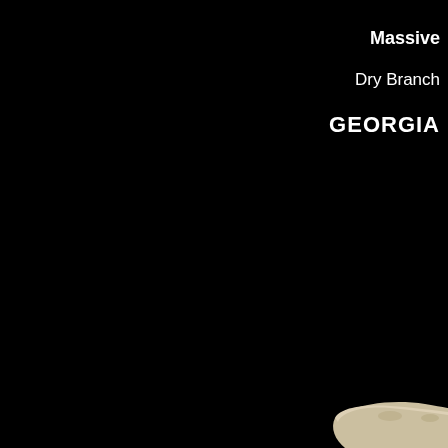Massive
Dry Branch
GEORGIA
[Figure (photo): Three elongated fossil specimens (likely coral or bone fragments) photographed against a black background. Top specimen is larger and more complete, middle specimen is smaller, and a third partial specimen is visible at the bottom of the frame. All specimens are beige/cream colored with rough textured surfaces.]